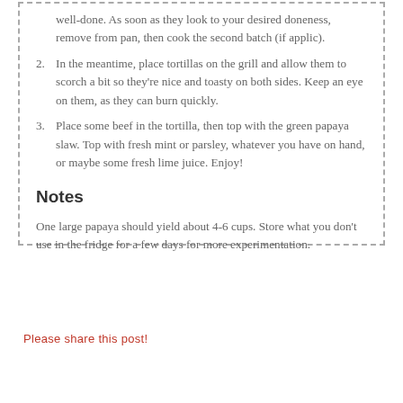well-done. As soon as they look to your desired doneness, remove from pan, then cook the second batch (if applic).
2. In the meantime, place tortillas on the grill and allow them to scorch a bit so they're nice and toasty on both sides. Keep an eye on them, as they can burn quickly.
3. Place some beef in the tortilla, then top with the green papaya slaw. Top with fresh mint or parsley, whatever you have on hand, or maybe some fresh lime juice. Enjoy!
Notes
One large papaya should yield about 4-6 cups. Store what you don't use in the fridge for a few days for more experimentation.
Please share this post!
[Figure (other): Social media share icons: Facebook (blue circle with white f), Pinterest (red circle with white P), Twitter (blue circle with white bird)]